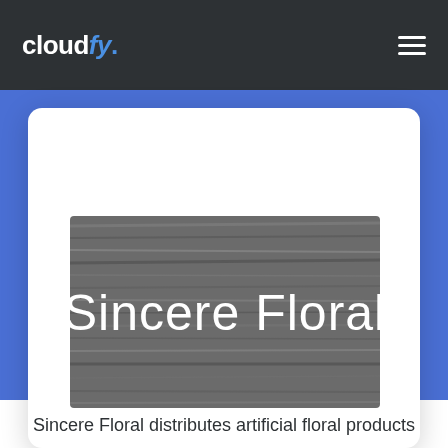cloudfy.
[Figure (screenshot): White card with wood-texture grayscale image showing 'Sincere Floral' text in white on a dark wood background, set against a blue section background]
Sincere Floral distributes artificial floral products